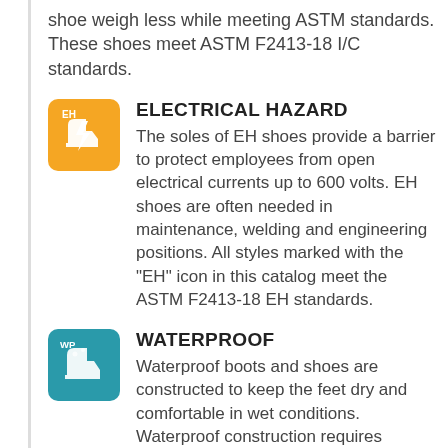shoe weigh less while meeting ASTM standards. These shoes meet ASTM F2413-18 I/C standards.
ELECTRICAL HAZARD
The soles of EH shoes provide a barrier to protect employees from open electrical currents up to 600 volts. EH shoes are often needed in maintenance, welding and engineering positions. All styles marked with the "EH" icon in this catalog meet the ASTM F2413-18 EH standards.
WATERPROOF
Waterproof boots and shoes are constructed to keep the feet dry and comfortable in wet conditions. Waterproof construction requires